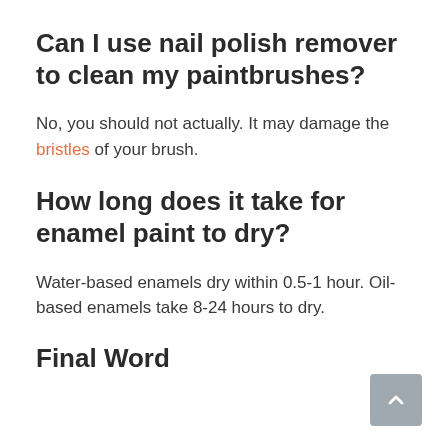Can I use nail polish remover to clean my paintbrushes?
No, you should not actually. It may damage the bristles of your brush.
How long does it take for enamel paint to dry?
Water-based enamels dry within 0.5-1 hour. Oil-based enamels take 8-24 hours to dry.
Final Word